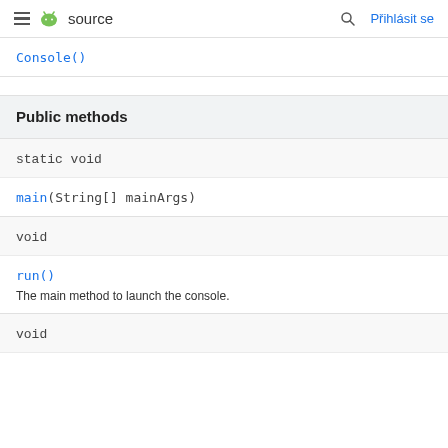= source  Q  Přihlásit se
Console()
Public methods
| Return type | Method |
| --- | --- |
| static void | main(String[] mainArgs) |
| void | run()
The main method to launch the console. |
| void |  |